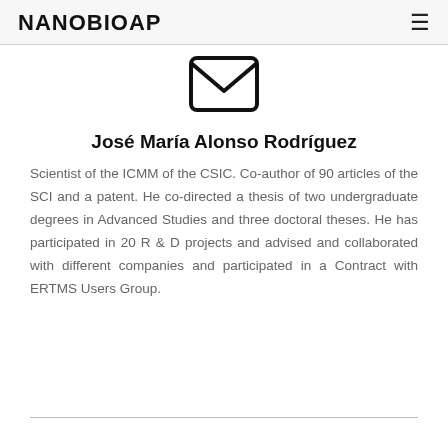NANOBIOAP
[Figure (illustration): Email/envelope icon — a rounded rectangle outline with an envelope 'M' chevron inside, rendered in black on white.]
José María Alonso Rodríguez
Scientist of the ICMM of the CSIC. Co-author of 90 articles of the SCI and a patent. He co-directed a thesis of two undergraduate degrees in Advanced Studies and three doctoral theses. He has participated in 20 R & D projects and advised and collaborated with different companies and participated in a Contract with ERTMS Users Group.